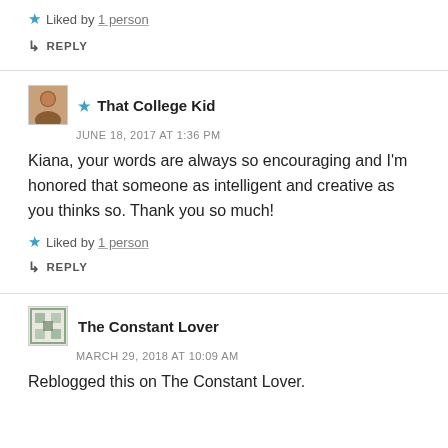★ Liked by 1 person
↳ REPLY
★ That College Kid
JUNE 18, 2017 AT 1:36 PM
Kiana, your words are always so encouraging and I'm honored that someone as intelligent and creative as you thinks so. Thank you so much!
★ Liked by 1 person
↳ REPLY
The Constant Lover
MARCH 29, 2018 AT 10:09 AM
Reblogged this on The Constant Lover.